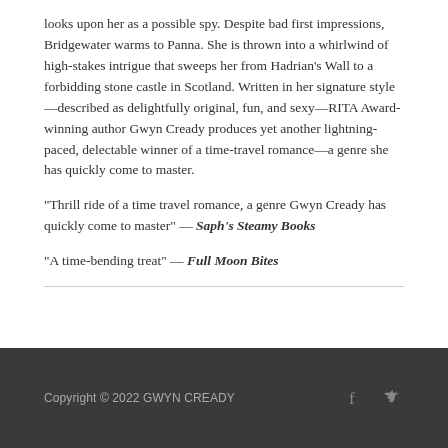looks upon her as a possible spy. Despite bad first impressions, Bridgewater warms to Panna. She is thrown into a whirlwind of high-stakes intrigue that sweeps her from Hadrian's Wall to a forbidding stone castle in Scotland. Written in her signature style—described as delightfully original, fun, and sexy—RITA Award-winning author Gwyn Cready produces yet another lightning-paced, delectable winner of a time-travel romance—a genre she has quickly come to master.
“Thrill ride of a time travel romance, a genre Gwyn Cready has quickly come to master” — Saph’s Steamy Books
“A time-bending treat” — Full Moon Bites
Copyright © 2022 GWYN CREADY